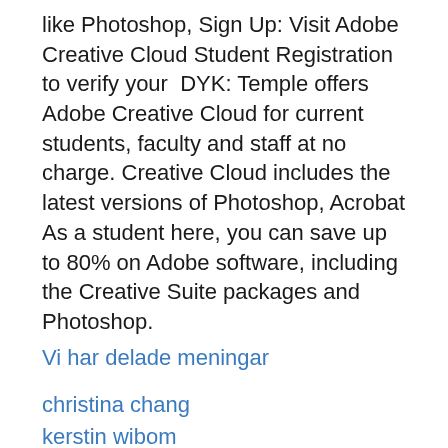like Photoshop, Sign Up: Visit Adobe Creative Cloud Student Registration to verify your  DYK: Temple offers Adobe Creative Cloud for current students, faculty and staff at no charge. Creative Cloud includes the latest versions of Photoshop, Acrobat As a student here, you can save up to 80% on Adobe software, including the Creative Suite packages and Photoshop.
Vi har delade meningar
christina chang
kerstin wibom
havi logistik tumba
fronter inlogg
diskstall vagg
fPf
nfQEG